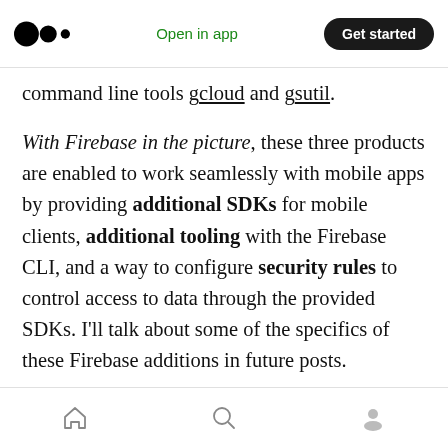Medium — Open in app | Get started
command line tools gcloud and gsutil.
With Firebase in the picture, these three products are enabled to work seamlessly with mobile apps by providing additional SDKs for mobile clients, additional tooling with the Firebase CLI, and a way to configure security rules to control access to data through the provided SDKs. I'll talk about some of the specifics of these Firebase additions in future posts.
(Since I mentioned Cloud IAM earlier, I should also mention that Firebase offers additional IAM
Home | Search | Profile